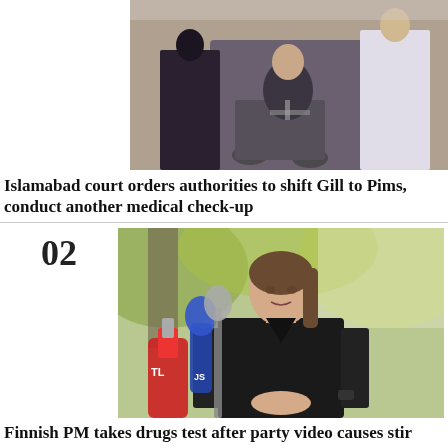[Figure (photo): A person in a wheelchair being attended to by medical personnel or officers, with hands visible holding equipment or documents.]
Islamabad court orders authorities to shift Gill to Pims, conduct another medical check-up
[Figure (photo): Finnish Prime Minister Sanna Marin speaking at a press conference outdoors, wearing a black top, with microphones including RTL and other branded mics in front of her.]
Finnish PM takes drugs test after party video causes stir